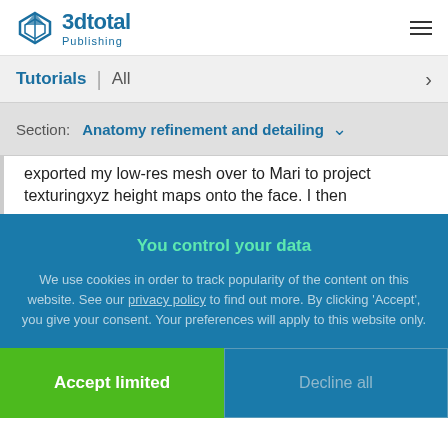3dtotal Publishing
Tutorials | All
Section: Anatomy refinement and detailing
exported my low-res mesh over to Mari to project texturingxyz height maps onto the face. I then
You control your data
We use cookies in order to track popularity of the content on this website. See our privacy policy to find out more. By clicking 'Accept', you give your consent. Your preferences will apply to this website only.
Accept limited
Decline all